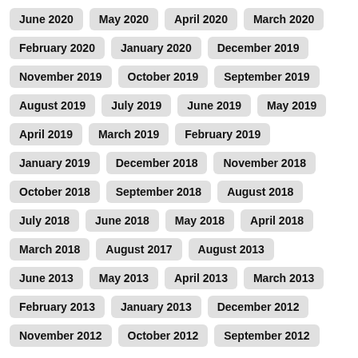June 2020
May 2020
April 2020
March 2020
February 2020
January 2020
December 2019
November 2019
October 2019
September 2019
August 2019
July 2019
June 2019
May 2019
April 2019
March 2019
February 2019
January 2019
December 2018
November 2018
October 2018
September 2018
August 2018
July 2018
June 2018
May 2018
April 2018
March 2018
August 2017
August 2013
June 2013
May 2013
April 2013
March 2013
February 2013
January 2013
December 2012
November 2012
October 2012
September 2012